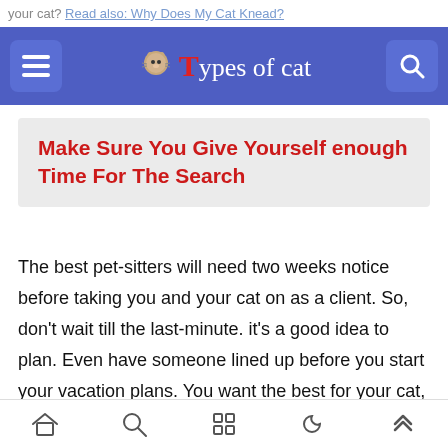your cat? Read also: Why Does My Cat Knead?
Types of cat
Make Sure You Give Yourself enough Time For The Search
The best pet-sitters will need two weeks notice before taking you and your cat on as a client. So, don't wait till the last-minute. it's a good idea to plan. Even have someone lined up before you start your vacation plans. You want the best for your cat, right? So be sure you have the proper match and you have time to check the sitters criminal background and references.
home search grid night up